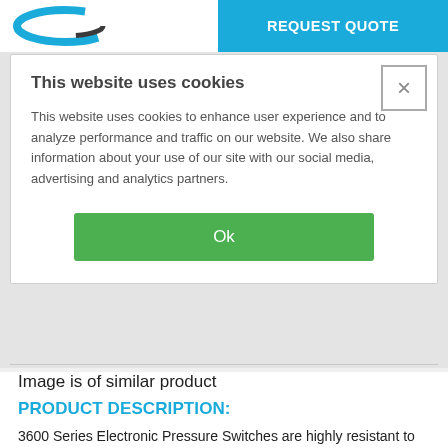REQUEST QUOTE
This website uses cookies
This website uses cookies to enhance user experience and to analyze performance and traffic on our website. We also share information about your use of our site with our social media, advertising and analytics partners.
Ok
Image is of similar product
PRODUCT DESCRIPTION:
3600 Series Electronic Pressure Switches are highly resistant to shock and vibration and feature no moving parts for reliability. These switches are ideal alternatives to electromechanical types in high cycle pressure applications, or when broad frequency response is needed. When very accurate set points or dead band